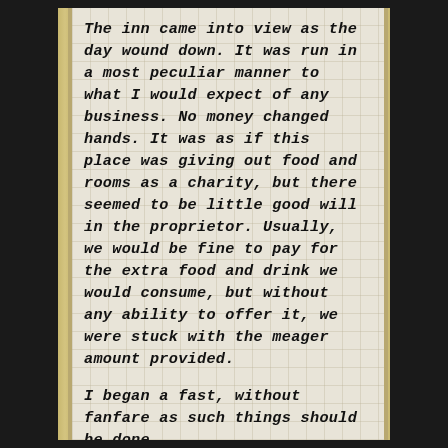The inn came into view as the day wound down. It was run in a most peculiar manner to what I would expect of any business. No money changed hands. It was as if this place was giving out food and rooms as a charity, but there seemed to be little good will in the proprietor. Usually, we would be fine to pay for the extra food and drink we would consume, but without any ability to offer it, we were stuck with the meager amount provided.

I began a fast, without fanfare as such things should be done